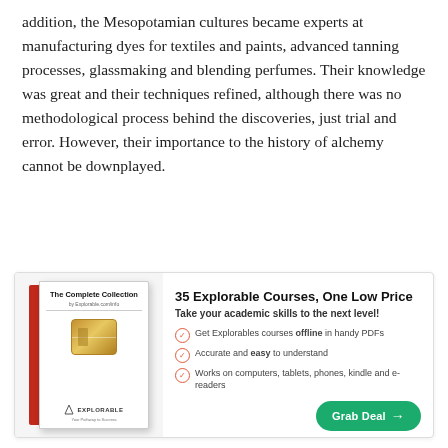addition, the Mesopotamian cultures became experts at manufacturing dyes for textiles and paints, advanced tanning processes, glassmaking and blending perfumes. Their knowledge was great and their techniques refined, although there was no methodological process behind the discoveries, just trial and error. However, their importance to the history of alchemy cannot be downplayed.
[Figure (infographic): Advertisement box for Explorable Complete Collection. Left side shows a book with red spine, gold chip graphic, and Explorable logo. Right side shows: title '35 Explorable Courses, One Low Price', subtitle 'Take your academic skills to the next level!', three bullet points about offline PDFs, easy understanding, and multi-device compatibility, and a green 'Grab Deal →' button.]